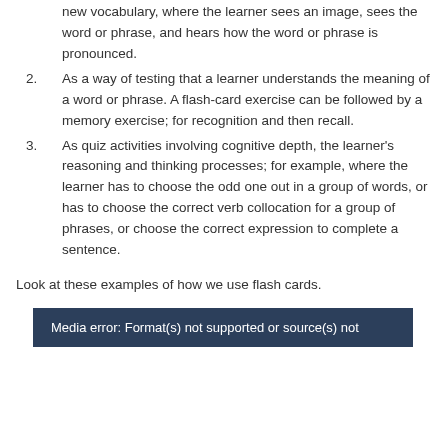new vocabulary, where the learner sees an image, sees the word or phrase, and hears how the word or phrase is pronounced.
2. As a way of testing that a learner understands the meaning of a word or phrase. A flash-card exercise can be followed by a memory exercise; for recognition and then recall.
3. As quiz activities involving cognitive depth, the learner’s reasoning and thinking processes; for example, where the learner has to choose the odd one out in a group of words, or has to choose the correct verb collocation for a group of phrases, or choose the correct expression to complete a sentence.
Look at these examples of how we use flash cards.
[Figure (screenshot): Media error: Format(s) not supported or source(s) not]